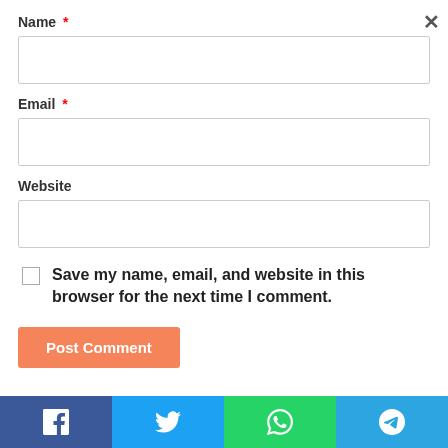Name *
Email *
Website
Save my name, email, and website in this browser for the next time I comment.
Post Comment
[Figure (infographic): Social share bar at bottom with Facebook, Twitter, WhatsApp, and Telegram buttons]